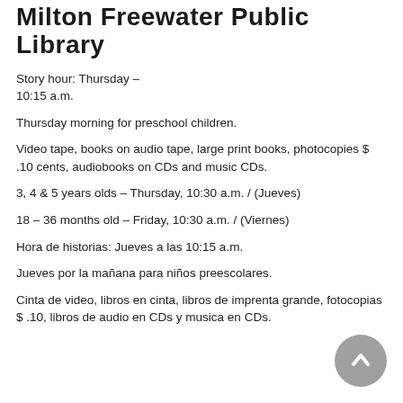Milton Freewater Public Library
Story hour: Thursday –
10:15 a.m.
Thursday morning for preschool children.
Video tape, books on audio tape, large print books, photocopies $ .10 cents, audiobooks on CDs and music CDs.
3, 4 & 5 years olds – Thursday, 10:30 a.m. / (Jueves)
18 – 36 months old – Friday, 10:30 a.m. / (Viernes)
Hora de historias: Jueves a las 10:15 a.m.
Jueves por la mañana para niños preescolares.
Cinta de video, libros en cinta, libros de imprenta grande, fotocopias $ .10, libros de audio en CDs y musica en CDs.